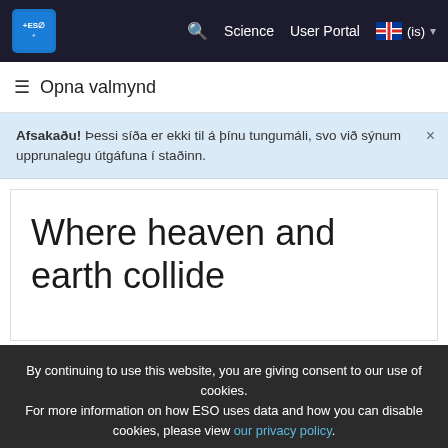ESO | Science | User Portal | (is)
☰ Opna valmynd
Afsakaðu! Þessi síða er ekki til á þínu tungumáli, svo við sýnum upprunalegu útgáfuna í staðinn.
Where heaven and earth collide
By continuing to use this website, you are giving consent to our use of cookies. For more information on how ESO uses data and how you can disable cookies, please view our privacy policy.
Accept